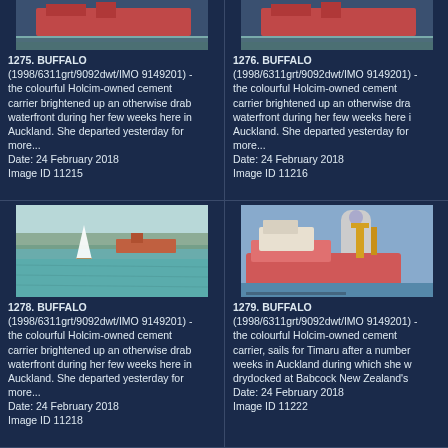[Figure (photo): Ship BUFFALO at waterfront, top portion cropped, red hull visible]
1275. BUFFALO (1998/6311grt/9092dwt/IMO 9149201) - the colourful Holcim-owned cement carrier brightened up an otherwise drab waterfront during her few weeks here in Auckland. She departed yesterday for more...
Date: 24 February 2018
Image ID 11215
[Figure (photo): Ship BUFFALO at waterfront, top portion cropped, red hull visible]
1276. BUFFALO (1998/6311grt/9092dwt/IMO 9149201) - the colourful Holcim-owned cement carrier brightened up an otherwise drab waterfront during her few weeks here in Auckland. She departed yesterday for more...
Date: 24 February 2018
Image ID 11216
[Figure (photo): BUFFALO ship seen at distance with a sailboat in foreground, calm water, teal sea]
1278. BUFFALO (1998/6311grt/9092dwt/IMO 9149201) - the colourful Holcim-owned cement carrier brightened up an otherwise drab waterfront during her few weeks here in Auckland. She departed yesterday for more...
Date: 24 February 2018
Image ID 11218
[Figure (photo): BUFFALO ship docked near buildings, pink/red hull with yellow cranes visible]
1279. BUFFALO (1998/6311grt/9092dwt/IMO 9149201) - the colourful Holcim-owned cement carrier, sails for Timaru after a number of weeks in Auckland during which she was drydocked at Babcock New Zealand's
Date: 24 February 2018
Image ID 11222